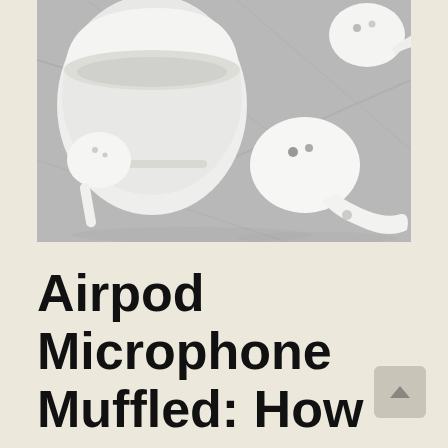[Figure (photo): Close-up photo of white Apple AirPods and their charging case placed on a light gray marble surface. Two AirPods and an open case are visible.]
Airpod Microphone Muffled: How To Fix?